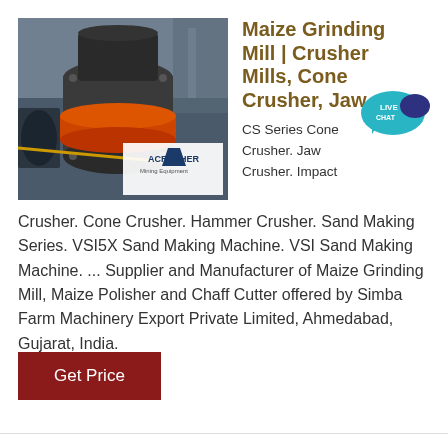[Figure (photo): Industrial cone crusher / grinding mill machine with orange ring, ACRUSHER Mining Equipment logo overlay]
Maize Grinding Mill | Crusher Mills, Cone Crusher, Jaw
CS Series Cone Crusher. Jaw Crusher. Impact Crusher. Cone Crusher. Hammer Crusher. Sand Making Series. VSI5X Sand Making Machine. VSI Sand Making Machine. ... Supplier and Manufacturer of Maize Grinding Mill, Maize Polisher and Chaff Cutter offered by Simba Farm Machinery Export Private Limited, Ahmedabad, Gujarat, India.
Get Price